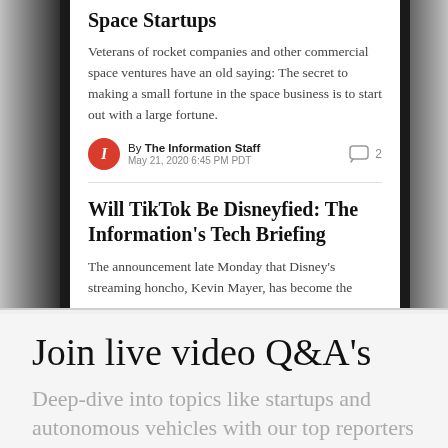[Figure (screenshot): Mobile phone screenshot showing two article previews from The Information app]
Space Startups
Veterans of rocket companies and other commercial space ventures have an old saying: The secret to making a small fortune in the space business is to start out with a large fortune.
By The Information Staff
May 21, 2020 6:45 PM PDT
Will TikTok Be Disneyfied: The Information's Tech Briefing
The announcement late Monday that Disney's streaming honcho, Kevin Mayer, has become the
Join live video Q&A's
Deep-dive into topics like startups and autonomous vehicles with our top reporters and other executives.